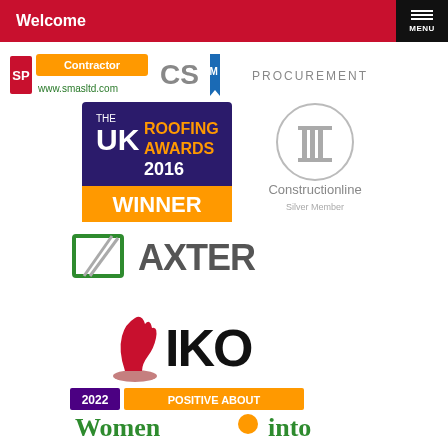Welcome
[Figure (logo): SMAS Contractor logo with www.smasltd.com]
[Figure (logo): CSCM blue ribbon logo]
[Figure (logo): PROCUREMENT text logo]
[Figure (logo): UK Roofing Awards 2016 WINNER badge]
[Figure (logo): Constructionline Silver Member logo]
[Figure (logo): AXTER logo with green square frame icon]
[Figure (logo): IKO logo with red knight chess piece]
[Figure (logo): 2022 Positive About Women into logo]